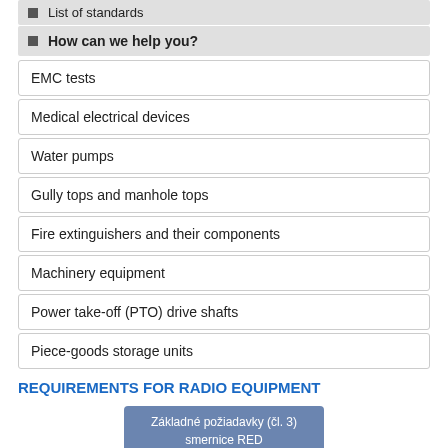List of standards
How can we help you?
EMC tests
Medical electrical devices
Water pumps
Gully tops and manhole tops
Fire extinguishers and their components
Machinery equipment
Power take-off (PTO) drive shafts
Piece-goods storage units
REQUIREMENTS FOR RADIO EQUIPMENT
[Figure (flowchart): Flowchart showing Základné požiadavky (čl. 3) smernice RED as top node, with branches below partially visible]